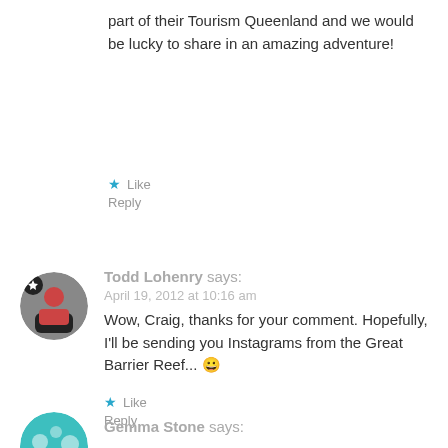part of their Tourism Queenland and we would be lucky to share in an amazing adventure!
Like
Reply
Todd Lohenry says:
April 19, 2012 at 10:16 am
Wow, Craig, thanks for your comment. Hopefully, I'll be sending you Instagrams from the Great Barrier Reef... 😀
Like
Reply
Gemma Stone says: